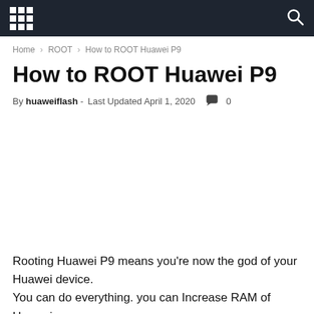Navigation bar with grid menu icon and search icon
Home › ROOT › How to ROOT Huawei P9
How to ROOT Huawei P9
By huaweiflash - Last Updated April 1, 2020  💬 0
[Figure (other): Advertisement or image placeholder area (blank white space)]
Rooting Huawei P9 means you're now the god of your Huawei device.
You can do everything. you can Increase RAM of Huawei